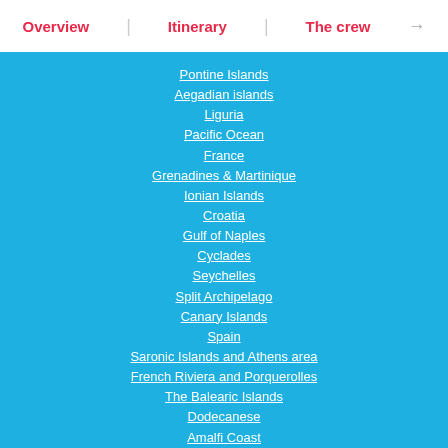Overview | Itinerary | The crew →
Pontine Islands
Aegadian islands
Liguria
Pacific Ocean
France
Grenadines & Martinique
Ionian Islands
Croatia
Gulf of Naples
Cyclades
Seychelles
Split Archipelago
Canary Islands
Spain
Saronic Islands and Athens area
French Riviera and Porquerolles
The Balearic Islands
Dodecanese
Amalfi Coast
Southern Sardinia